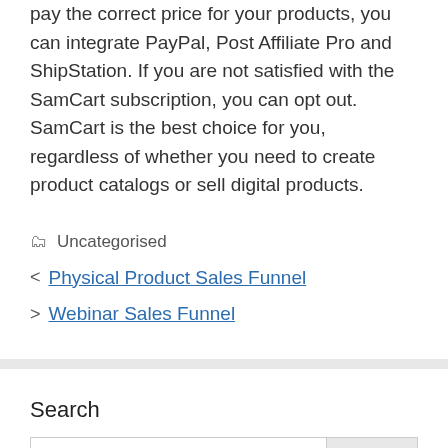pay the correct price for your products, you can integrate PayPal, Post Affiliate Pro and ShipStation. If you are not satisfied with the SamCart subscription, you can opt out. SamCart is the best choice for you, regardless of whether you need to create product catalogs or sell digital products.
Uncategorised
Physical Product Sales Funnel
Webinar Sales Funnel
Search